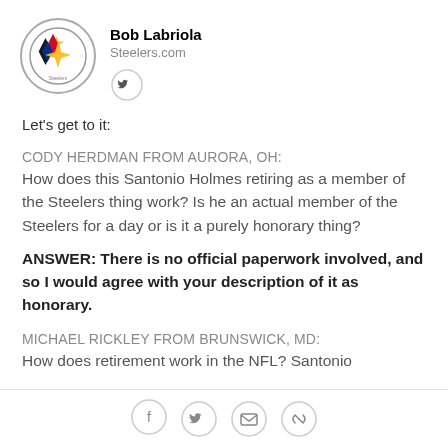[Figure (logo): Pittsburgh Steelers logo in circular border]
Bob Labriola
Steelers.com
[Figure (illustration): Twitter bird icon in circle]
Let's get to it:
CODY HERDMAN FROM AURORA, OH:
How does this Santonio Holmes retiring as a member of the Steelers thing work? Is he an actual member of the Steelers for a day or is it a purely honorary thing?
ANSWER: There is no official paperwork involved, and so I would agree with your description of it as honorary.
MICHAEL RICKLEY FROM BRUNSWICK, MD:
How does retirement work in the NFL? Santonio
[Figure (illustration): Social sharing icons: Facebook, Twitter, email, link]